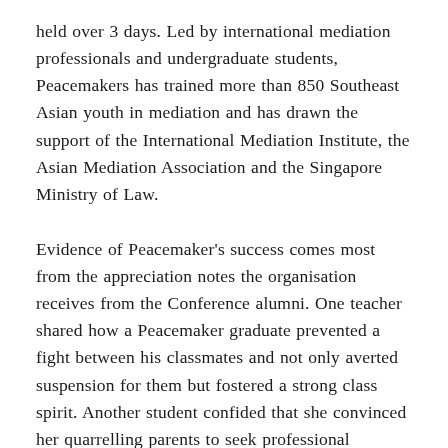held over 3 days. Led by international mediation professionals and undergraduate students, Peacemakers has trained more than 850 Southeast Asian youth in mediation and has drawn the support of the International Mediation Institute, the Asian Mediation Association and the Singapore Ministry of Law.
Evidence of Peacemaker's success comes most from the appreciation notes the organisation receives from the Conference alumni. One teacher shared how a Peacemaker graduate prevented a fight between his classmates and not only averted suspension for them but fostered a strong class spirit. Another student confided that she convinced her quarrelling parents to seek professional mediation assistance and saved the family from breaking up.